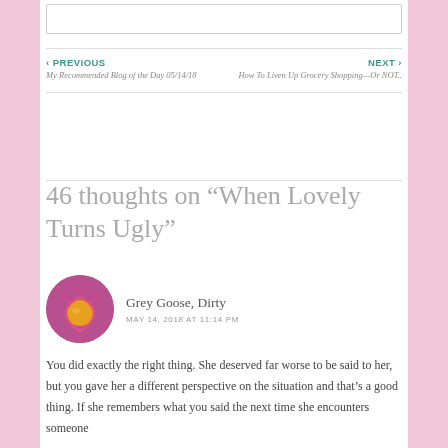‹ PREVIOUS
My Recommended Blog of the Day 05/14/18
NEXT ›
How To Liven Up Grocery Shopping—Or NOT..
46 thoughts on “When Lovely Turns Ugly”
Grey Goose, Dirty
MAY 14, 2018 AT 11:14 PM
You did exactly the right thing. She deserved far worse to be said to her, but you gave her a different perspective on the situation and that’s a good thing. If she remembers what you said the next time she encounters someone